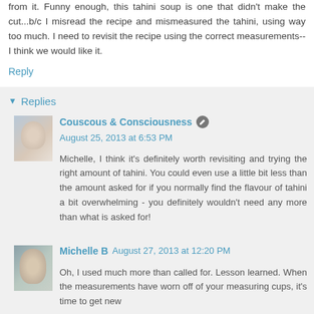from it. Funny enough, this tahini soup is one that didn't make the cut...b/c I misread the recipe and mismeasured the tahini, using way too much. I need to revisit the recipe using the correct measurements--I think we would like it.
Reply
Replies
Couscous & Consciousness August 25, 2013 at 6:53 PM
Michelle, I think it's definitely worth revisiting and trying the right amount of tahini. You could even use a little bit less than the amount asked for if you normally find the flavour of tahini a bit overwhelming - you definitely wouldn't need any more than what is asked for!
Michelle B August 27, 2013 at 12:20 PM
Oh, I used much more than called for. Lesson learned. When the measurements have worn off of your measuring cups, it's time to get new